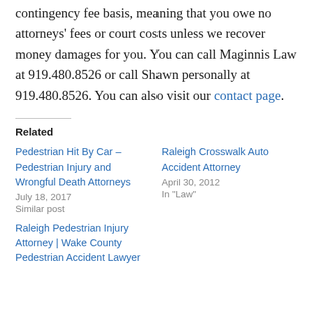contingency fee basis, meaning that you owe no attorneys' fees or court costs unless we recover money damages for you. You can call Maginnis Law at 919.480.8526 or call Shawn personally at 919.480.8526. You can also visit our contact page.
Related
Pedestrian Hit By Car – Pedestrian Injury and Wrongful Death Attorneys
July 18, 2017
Similar post
Raleigh Crosswalk Auto Accident Attorney
April 30, 2012
In "Law"
Raleigh Pedestrian Injury Attorney | Wake County Pedestrian Accident Lawyer
March 31, 2012